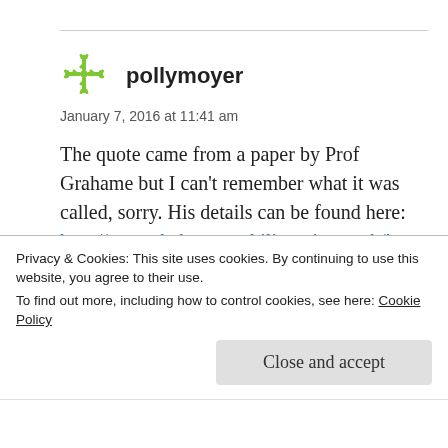[Figure (illustration): Green snowflake-like avatar icon for user pollymoyer]
pollymoyer
January 7, 2016 at 11:41 am
The quote came from a paper by Prof Grahame but I can’t remember what it was called, sorry. His details can be found here: http://www.thehypermobilityunit.org.uk/index.php/prof-rodney-grahame and if you google for his papers I’m sure you’ll find it
Privacy & Cookies: This site uses cookies. By continuing to use this website, you agree to their use.
To find out more, including how to control cookies, see here:
Cookie Policy
Close and accept